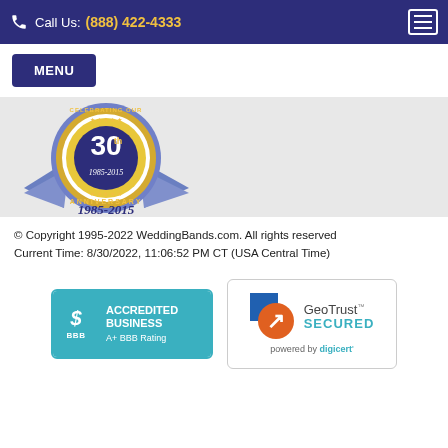Call Us: (888) 422-4333
MENU
[Figure (illustration): 30th Anniversary badge/seal with gold and blue ribbons, text '1985-2015']
© Copyright 1995-2022 WeddingBands.com. All rights reserved
Current Time: 8/30/2022, 11:06:52 PM CT (USA Central Time)
[Figure (logo): BBB Accredited Business A+ BBB Rating badge]
[Figure (logo): GeoTrust Secured powered by digicert badge]